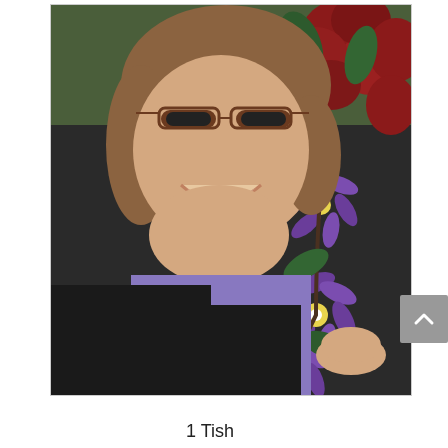[Figure (photo): A smiling woman with brown-rimmed glasses, wearing a black sweater over a purple shirt, holding purple clematis flowers. Background shows red and green flowers.]
1 Tish